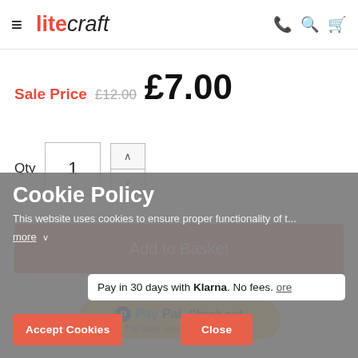litecraft — navigation header with hamburger menu, phone, search, and cart icons
Sale Price £12.00 £7.00
Qty 1
Add to Basket
- OR -
[Figure (logo): PayPal Check out button with text 'The safer, easier way to pay']
Cookie Policy
This website uses cookies to ensure proper functionality of t...
more
Pay in 30 days with Klarna. No fees.
Accept Cookies
Close